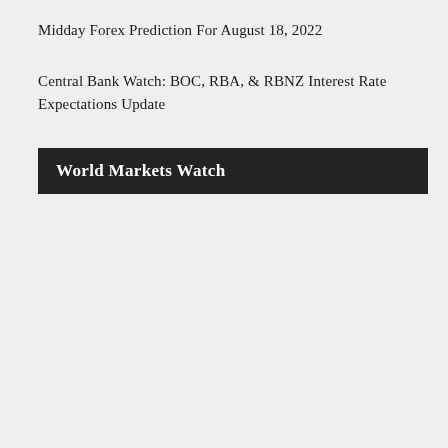Midday Forex Prediction For August 18, 2022
Central Bank Watch: BOC, RBA, & RBNZ Interest Rate Expectations Update
World Markets Watch